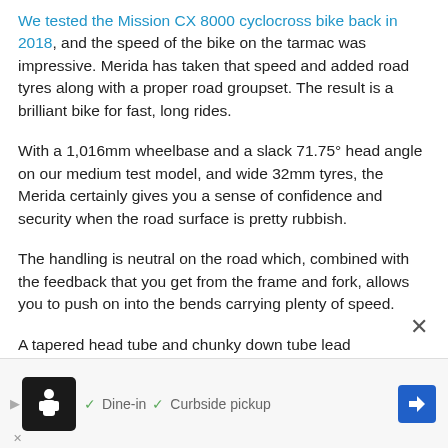We tested the Mission CX 8000 cyclocross bike back in 2018, and the speed of the bike on the tarmac was impressive. Merida has taken that speed and added road tyres along with a proper road groupset. The result is a brilliant bike for fast, long rides.
With a 1,016mm wheelbase and a slack 71.75° head angle on our medium test model, and wide 32mm tyres, the Merida certainly gives you a sense of confidence and security when the road surface is pretty rubbish.
The handling is neutral on the road which, combined with the feedback that you get from the frame and fork, allows you to push on into the bends carrying plenty of speed.
A tapered head tube and chunky down tube lead in to the oversized bottom bracket shell and chainstays. Shimano's decided...
[Figure (other): Advertisement banner overlay with close button (X), a restaurant/food delivery app ad showing a dark icon with a chef figure, checkmarks for Dine-in and Curbside pickup options, and a blue navigation arrow icon.]